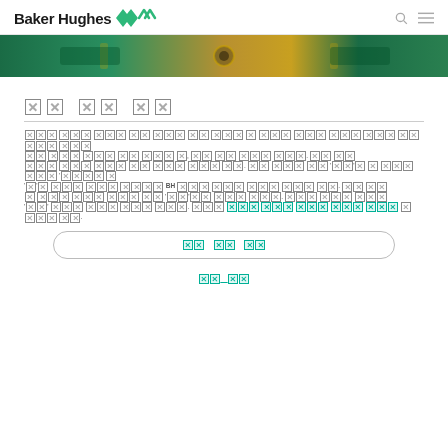Baker Hughes [logo]
[Figure (photo): Close-up photo strip of green and gold industrial/mechanical equipment]
[CJK placeholder title characters]
[Body text in CJK/unreadable characters with a teal hyperlink and BH reference]
[CTA button with teal CJK text]
[Secondary teal underlined CJK link]